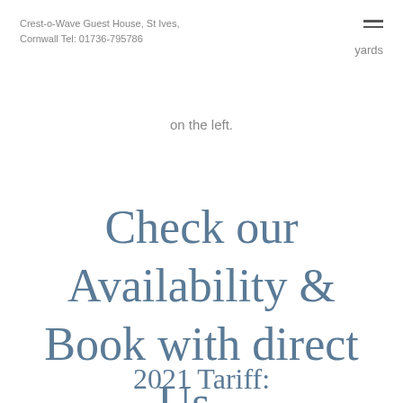Crest-o-Wave Guest House, St Ives, Cornwall Tel: 01736-795786
yards
on the left.
Check our Availability & Book with direct Us...
2021 Tariff: